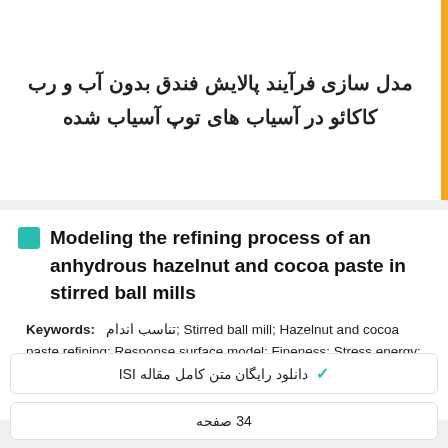مدل سازی فرآیند پالایش فندق بدون آب و رب کاکائو در آسیاب های توپ آسیاب شده
Modeling the refining process of an anhydrous hazelnut and cocoa paste in stirred ball mills
Keywords: تناسب اندام; Stirred ball mill; Hazelnut and cocoa paste refining; Response surface model; Fineness; Stress energy; Stress number;
دانلود رایگان متن کامل مقاله ISI
34 صفحه